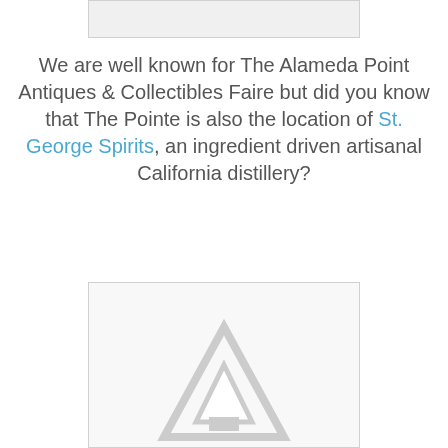[Figure (other): Top image placeholder box, light gray background]
We are well known for The Alameda Point Antiques & Collectibles Faire but did you know that The Pointe is also the location of St. George Spirits, an ingredient driven artisanal California distillery?
[Figure (logo): St. George Spirits logo — triangular letter A shape in gray, partially visible at bottom]